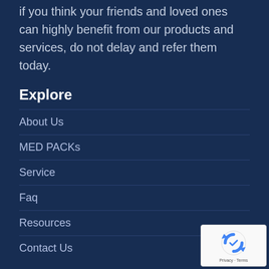if you think your friends and loved ones can highly benefit from our products and services, do not delay and refer them today.
Explore
About Us
MED PACKs
Service
Faq
Resources
Contact Us
Service
[Figure (logo): reCAPTCHA logo with Privacy and Terms text]